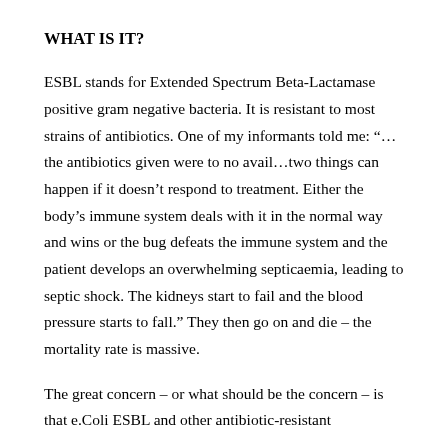WHAT IS IT?
ESBL stands for Extended Spectrum Beta-Lactamase positive gram negative bacteria. It is resistant to most strains of antibiotics. One of my informants told me: “… the antibiotics given were to no avail…two things can happen if it doesn’t respond to treatment. Either the body’s immune system deals with it in the normal way and wins or the bug defeats the immune system and the patient develops an overwhelming septicaemia, leading to septic shock. The kidneys start to fail and the blood pressure starts to fall.” They then go on and die – the mortality rate is massive.
The great concern – or what should be the concern – is that e.Coli ESBL and other antibiotic-resistant